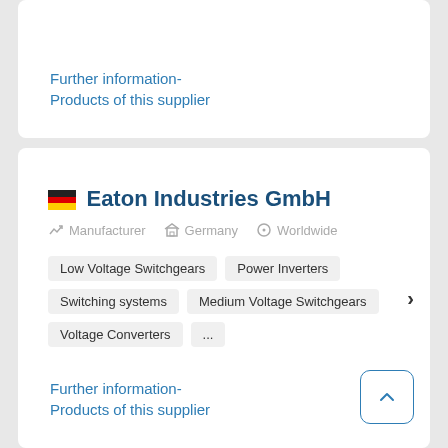Further information-
Products of this supplier
🇩🇪 Eaton Industries GmbH
Manufacturer  Germany  Worldwide
Low Voltage Switchgears
Power Inverters
Switching systems
Medium Voltage Switchgears
Voltage Converters
...
Further information-
Products of this supplier